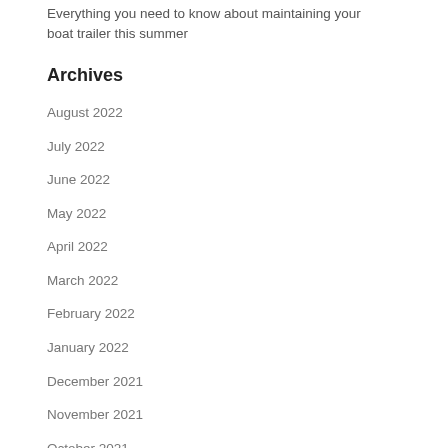Everything you need to know about maintaining your boat trailer this summer
Archives
August 2022
July 2022
June 2022
May 2022
April 2022
March 2022
February 2022
January 2022
December 2021
November 2021
October 2021
September 2021